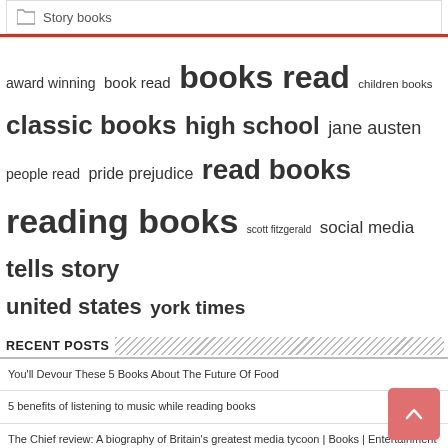Story books
[Figure (infographic): Tag cloud with book-related keywords in varying font sizes: award winning, book read, books read (largest), children books, classic books (large), high school (large), jane austen, people read, pride prejudice, read books (large), reading books (largest), scott fitzgerald (small), social media, tells story (large), united states, york times]
RECENT POSTS
You'll Devour These 5 Books About The Future Of Food
5 benefits of listening to music while reading books
The Chief review: A biography of Britain's greatest media tycoon | Books | Entertainment
Academics Are Told Classic Books Can Harm Their 'Well-Being'